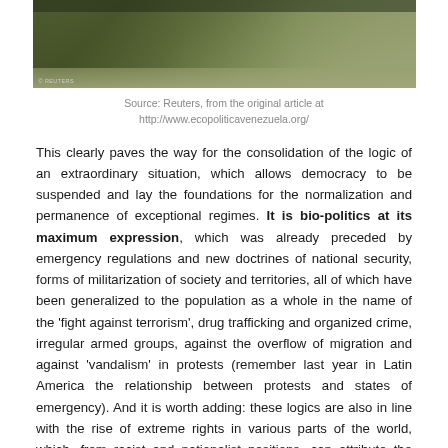[Figure (photo): Two soldiers in camouflage uniforms, one holding a rifle, photographed outdoors. Reuters watermark visible.]
Source: Reuters, from the original article at http://www.ecopoliticavenezuela.org/
This clearly paves the way for the consolidation of the logic of an extraordinary situation, which allows democracy to be suspended and lay the foundations for the normalization and permanence of exceptional regimes. It is bio-politics at its maximum expression, which was already preceded by emergency regulations and new doctrines of national security, forms of militarization of society and territories, all of which have been generalized to the population as a whole in the name of the ‘fight against terrorism’, drug trafficking and organized crime, irregular armed groups, against the overflow of migration and against ‘vandalism’ in protests (remember last year in Latin America the relationship between protests and states of emergency). And it is worth adding: these logics are also in line with the rise of extreme rights in various parts of the world, which, from racist and nationalist positions, can attribute the situation to ‘foreign infections’, a permissive immigration policy and the need to autarkic economies (again, another factor to say goodbye to globalization?).